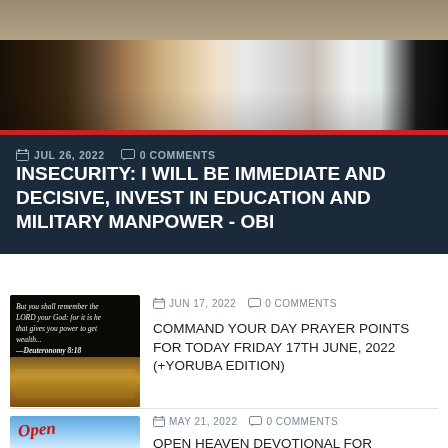[Figure (photo): Group of people standing together, photo at top of page]
JUL 26, 2022  0 COMMENTS
INSECURITY: I WILL BE IMMEDIATE AND DECISIVE, INVEST IN EDUCATION AND MILITARY MANPOWER - OBI
[Figure (photo): Bible open with text overlay: But you shall remember the LORD your God: for it is he that gives you power to get wealth... —Deuteronomy 8:18]
JUN 17, 2022  0 COMMENTS
COMMAND YOUR DAY PRAYER POINTS FOR TODAY FRIDAY 17TH JUNE, 2022 (+YORUBA EDITION)
[Figure (photo): Open Heaven devotional book cover with sky background]
MAY 21, 2022  0 COMMENTS
OPEN HEAVEN DEVOTIONAL FOR SATURDAY MAY 21ST 2022: THE SEVEN SEALS III